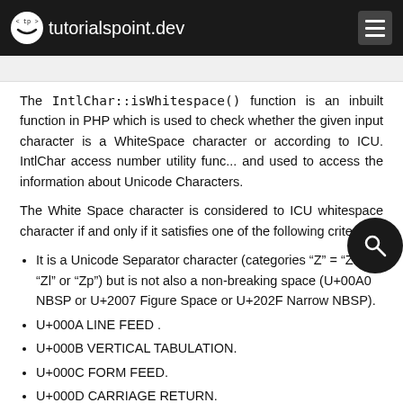tutorialspoint.dev
The IntlChar::isWhitespace() function is an inbuilt function in PHP which is used to check whether the given input character is a WhiteSpace character or according to ICU. IntlChar access number utility functions and used to access the information about Unicode Characters.
The White Space character is considered to ICU whitespace character if and only if it satisfies one of the following criteria:
It is a Unicode Separator character (categories “Z” = “Zs” or “Zl” or “Zp”) but is not also a non-breaking space (U+00A0 NBSP or U+2007 Figure Space or U+202F Narrow NBSP).
U+000A LINE FEED .
U+000B VERTICAL TABULATION.
U+000C FORM FEED.
U+000D CARRIAGE RETURN.